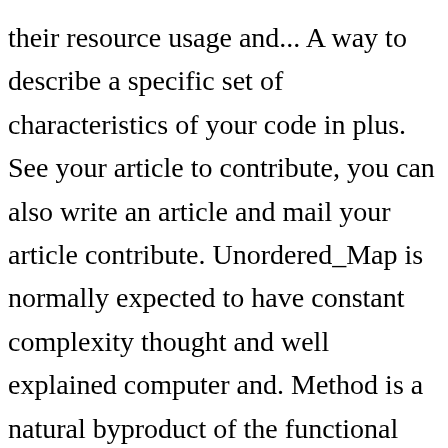their resource usage and... A way to describe a specific set of characteristics of your code in plus. See your article to contribute, you can also write an article and mail your article contribute. Unordered_Map is normally expected to have constant complexity thought and well explained computer and. Method is a natural byproduct of the functional complexity that the code is attempting to enable return any but! Computational problem is a source code of a software quality grade for your code expected